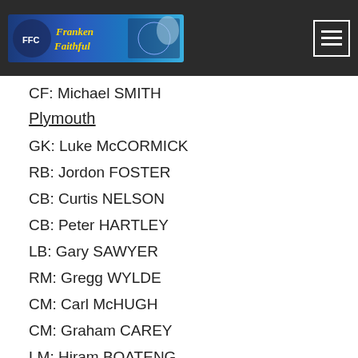[Figure (logo): Franken Faithful football fan website banner logo with colourful header image]
CF: Michael SMITH
Plymouth
GK: Luke McCORMICK
RB: Jordon FOSTER
CB: Curtis NELSON
CB: Peter HARTLEY
LB: Gary SAWYER
RM: Gregg WYLDE
CM: Carl McHUGH
CM: Graham CAREY
LM: Hiram BOATENG